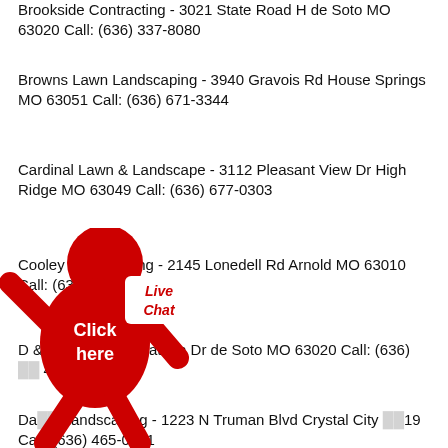Brookside Contracting - 3021 State Road H de Soto MO 63020 Call: (636) 337-8080
Browns Lawn Landscaping - 3940 Gravois Rd House Springs MO 63051 Call: (636) 671-3344
Cardinal Lawn & Landscape - 3112 Pleasant View Dr High Ridge MO 63049 Call: (636) 677-0303
Cooley Landscaping - 2145 Lonedell Rd Arnold MO 63010 Call: (636) 296-8490
D & [obscured] - 902 Marathon Dr de Soto MO 63020 Call: (636) [obscured] 4962
Da[obscured] Landscaping - 1223 N Truman Blvd Crystal City MO [6]3019 Call: (636) 465-0401
[Figure (illustration): Red stick figure mascot with 'Click here' text and 'Live Chat' label overlay, partially obscuring business listings]